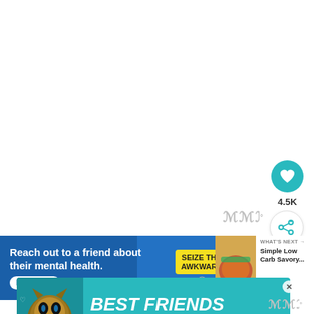[Figure (screenshot): White blank area taking up top portion of page, likely a recipe or article image area]
[Figure (logo): Watermark logo with triple-M-like symbol and degree symbol, gray color]
[Figure (infographic): Teal circular heart/like button showing 4.5K likes count]
4.5K
[Figure (infographic): White circular share button with share icon]
[Figure (screenshot): Blue advertisement banner: 'Reach out to a friend about their mental health. Learn more' with SEIZE THE AWKWAR[D] text and yellow badge]
[Figure (screenshot): WHAT'S NEXT panel with 'Simple Low Carb Savory...' text]
[Figure (screenshot): Teal advertisement banner with cat image and 'BEST FRIENDS FOREVER' text]
[Figure (logo): Second watermark logo, gray, bottom right]